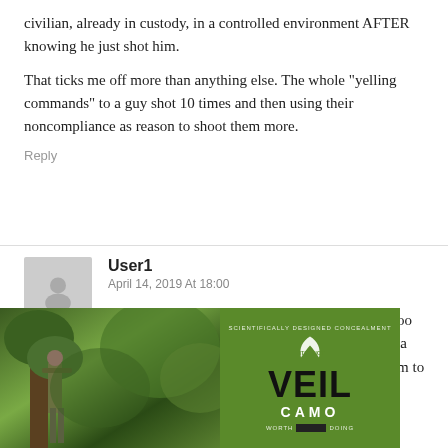civilian, already in custody, in a controlled environment AFTER knowing he just shot him.
That ticks me off more than anything else. The whole “yelling commands” to a guy shot 10 times and then using their noncompliance as reason to shoot them more.
Reply
User1
April 14, 2019 At 18:00
I have seen the yelling at a dead body situation too many times to guess. They dump 50 rounds into a man and then expect him to have … Simon says. … guy yet … ur hands,
[Figure (photo): Person in camouflage gear standing near a tree in a forest setting]
[Figure (logo): VEIL CAMO advertisement logo on green background]